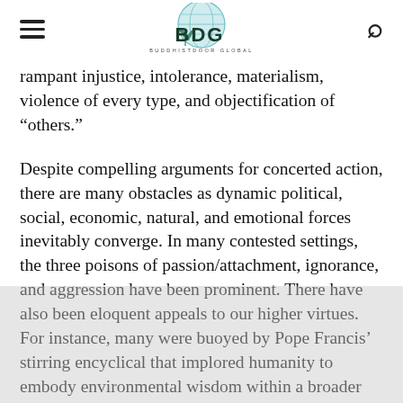BDG — Buddhistdoor Global
rampant injustice, intolerance, materialism, violence of every type, and objectification of “others.”
Despite compelling arguments for concerted action, there are many obstacles as dynamic political, social, economic, natural, and emotional forces inevitably converge. In many contested settings, the three poisons of passion/attachment, ignorance, and aggression have been prominent. There have also been eloquent appeals to our higher virtues. For instance, many were buoyed by Pope Francis’ stirring encyclical that implored humanity to embody environmental wisdom within a broader commitment to social and spiritual transformation. The pontiff’s plea was only the